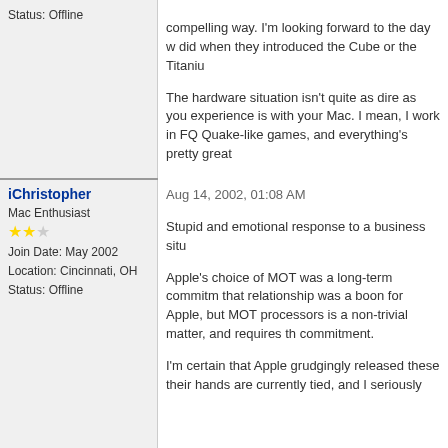Status: Offline
compelling way. I'm looking forward to the day w did when they introduced the Cube or the Titaniu
The hardware situation isn't quite as dire as you experience is with your Mac. I mean, I work in FC Quake-like games, and everything's pretty great
Apple's portable lineup is terrific, the eMac is gre cool. Okay, the PowerMacs aren't amazing, and Jaguar is going to deliver a speed boost across t right? It's f-ing beautiful.
Our time is gonna come, but in the meantime, th
iChristopher
Aug 14, 2002, 01:08 AM
Mac Enthusiast
Join Date: May 2002
Location: Cincinnati, OH
Status: Offline
Stupid and emotional response to a business situ
Apple's choice of MOT was a long-term commitm that relationship was a boon for Apple, but MOT processors is a non-trivial matter, and requires th commitment.
I'm certain that Apple grudgingly released these their hands are currently tied, and I seriously